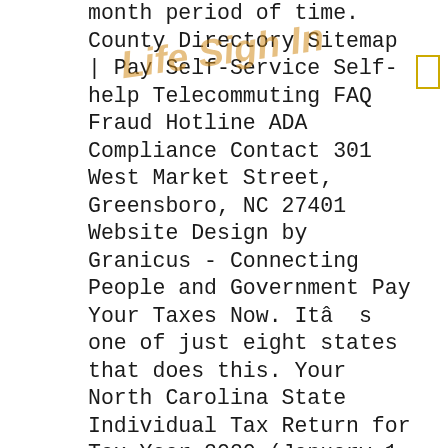month period of time. County Directory Sitemap | Pay Self-Service Self-help Telecommuting FAQ Fraud Hotline ADA Compliance Contact 301 West Market Street, Greensboro, NC 27401 Website Design by Granicus - Connecting People and Government Pay Your Taxes Now. Itâ s one of just eight states that does this. Your North Carolina State Individual Tax Return for Tax Year 2020 (January 1 - Dec. 31, 2020) can be prepared and e-Filed now along with a Federal or IRS Individual Tax Return (or you can learn how to complete and file only a NC state return). The latest deadline for e-filing NC State Tax Returns is April 15, 2021. Keystone State. Skip to Main Content News COVID-19: Get updates for California taxpayers affected by â¦ Website: https://www.ncdor.gov/taxes-forms Continue to myNCDMV Services. Order a Special or Personalized â¦ Please enable JavaScript in your browser for a better user experience. Pay your Robeson County, North Carolina property taxes